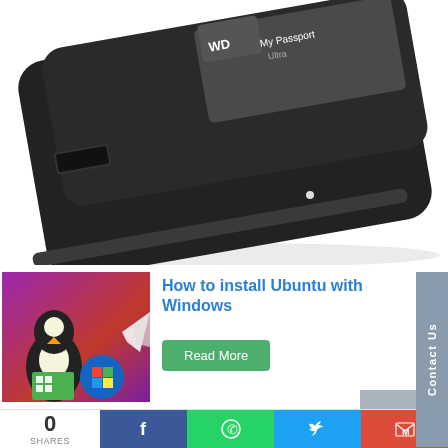[Figure (photo): WD My Passport Ultra external hard drive, black, shown at an angle with USB port visible]
[Figure (photo): Thumbnail image with Linux Tux penguin and Windows logos on purple/red background]
How to install Ubuntu with Windows
Read More
[Figure (photo): Thumbnail of nature/landscape scene]
Common Java problems and
0
SHARES